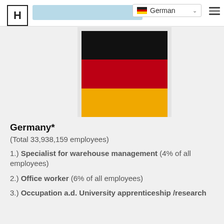H | [search bar] | German ∨ | ≡
[Figure (illustration): German flag — three horizontal stripes: black, red, gold/yellow]
Germany*
(Total 33,938,159 employees)
1.) Specialist for warehouse management (4% of all employees)
2.) Office worker (6% of all employees)
3.) Occupation a.d. University apprenticeship /research (…% of all employees)